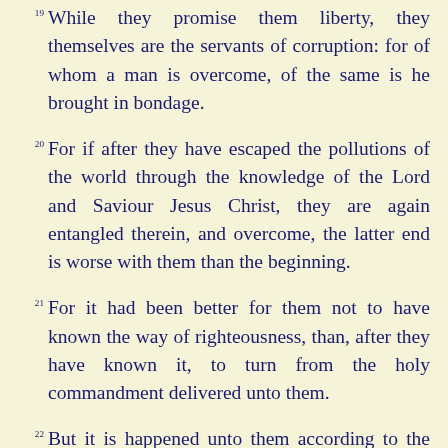19 While they promise them liberty, they themselves are the servants of corruption: for of whom a man is overcome, of the same is he brought in bondage.
20 For if after they have escaped the pollutions of the world through the knowledge of the Lord and Saviour Jesus Christ, they are again entangled therein, and overcome, the latter end is worse with them than the beginning.
21 For it had been better for them not to have known the way of righteousness, than, after they have known it, to turn from the holy commandment delivered unto them.
22 But it is happened unto them according to the true proverb, The dog is turned to his own vomit again; and the sow that was washed to her